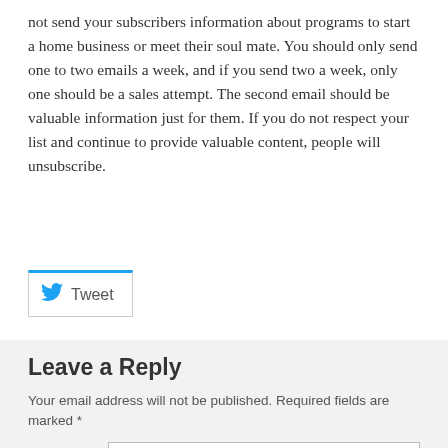not send your subscribers information about programs to start a home business or meet their soul mate. You should only send one to two emails a week, and if you send two a week, only one should be a sales attempt. The second email should be valuable information just for them. If you do not respect your list and continue to provide valuable content, people will unsubscribe.
[Figure (other): Tweet button with Twitter bird icon and blue top border]
Leave a Reply
Your email address will not be published. Required fields are marked *
Comment *